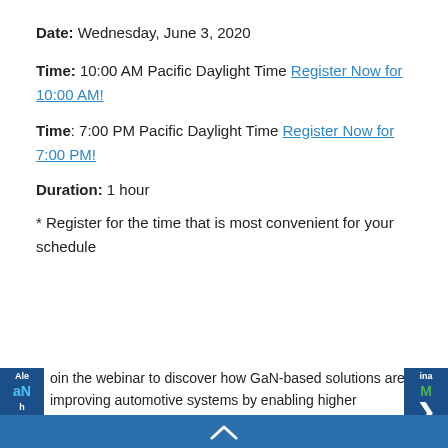Date: Wednesday, June 3, 2020
Time: 10:00 AM Pacific Daylight Time Register Now for 10:00 AM!
Time: 7:00 PM Pacific Daylight Time Register Now for 7:00 PM!
Duration: 1 hour
* Register for the time that is most convenient for your schedule
oin the webinar to discover how GaN-based solutions are improving automotive systems by enabling higher efficiency and high reliability with power densities higher than ever achievable with the silicon MOSFETs used in vehicles today.